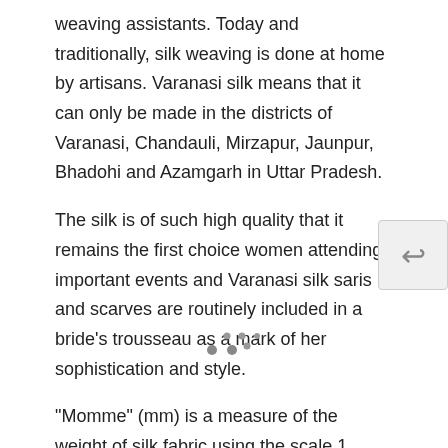weaving assistants. Today and traditionally, silk weaving is done at home by artisans. Varanasi silk means that it can only be made in the districts of Varanasi, Chandauli, Mirzapur, Jaunpur, Bhadohi and Azamgarh in Uttar Pradesh.
The silk is of such high quality that it remains the first choice women attending important events and Varanasi silk saris and scarves are routinely included in a bride's trousseau as a mark of her sophistication and style.
"Momme" (mm) is a measure of the weight of silk fabric using the scale 1 momme to 3.75 grams per square meter. In comparison "Traditional" silk scarves typically use silk between 6 and 10 momme, our "Classic" scarves between 8 and 25 momme, and our "Heritage" scarves above 25 momme.
Your scarf is supplied with FREE gift-wrap in attractive ivory tissue and presentational frosted bag along with a FREE message service. Warm to wear and easy care. Your scarf or